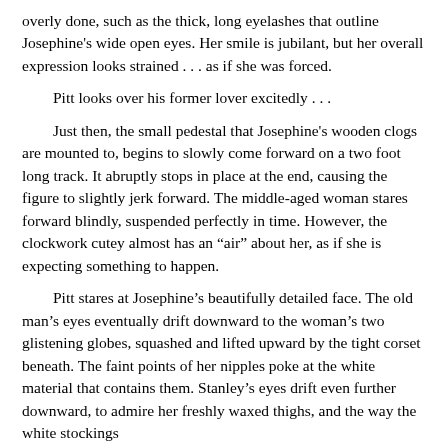overly done, such as the thick, long eyelashes that outline Josephine's wide open eyes. Her smile is jubilant, but her overall expression looks strained . . . as if she was forced.
Pitt looks over his former lover excitedly . . .
Just then, the small pedestal that Josephine's wooden clogs are mounted to, begins to slowly come forward on a two foot long track. It abruptly stops in place at the end, causing the figure to slightly jerk forward. The middle-aged woman stares forward blindly, suspended perfectly in time. However, the clockwork cutey almost has an “air” about her, as if she is expecting something to happen.
Pitt stares at Josephine’s beautifully detailed face. The old man’s eyes eventually drift downward to the woman’s two glistening globes, squashed and lifted upward by the tight corset beneath. The faint points of her nipples poke at the white material that contains them. Stanley’s eyes drift even further downward, to admire her freshly waxed thighs, and the way the white stockings